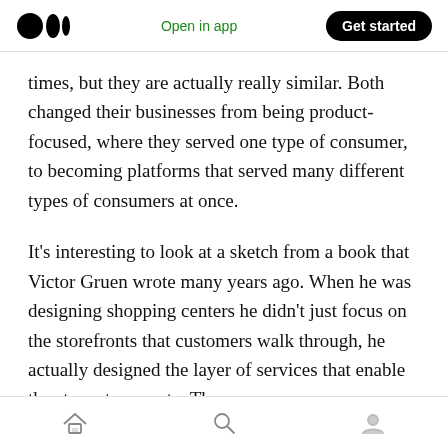Open in app  Get started
times, but they are actually really similar. Both changed their businesses from being product-focused, where they served one type of consumer, to becoming platforms that served many different types of consumers at once.
It's interesting to look at a sketch from a book that Victor Gruen wrote many years ago. When he was designing shopping centers he didn't just focus on the storefronts that customers walk through, he actually designed the layer of services that enable the stores to operate. The
Home  Search  Profile